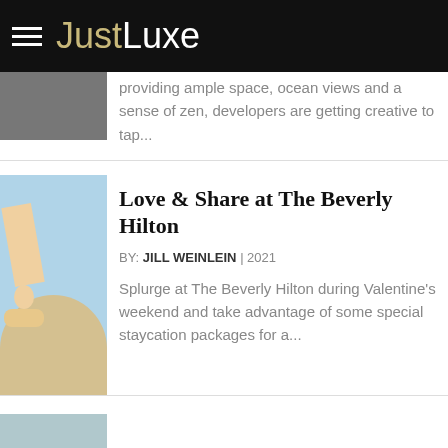JustLuxe
providing ample space, ocean views and a sense of zen, developers are getting creative to tap...
Love & Share at The Beverly Hilton
BY: JILL WEINLEIN | 2021
Splurge at The Beverly Hilton during Valentine's weekend and take advantage of some special staycation packages for a...